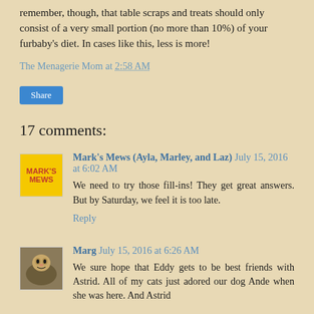remember, though, that table scraps and treats should only consist of a very small portion (no more than 10%) of your furbaby's diet. In cases like this, less is more!
The Menagerie Mom at 2:58 AM
Share
17 comments:
Mark's Mews (Ayla, Marley, and Laz) July 15, 2016 at 6:02 AM
We need to try those fill-ins! They get great answers. But by Saturday, we feel it is too late.
Reply
Marg July 15, 2016 at 6:26 AM
We sure hope that Eddy gets to be best friends with Astrid. All of my cats just adored our dog Ande when she was here. And Astrid